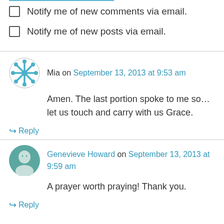Notify me of new comments via email.
Notify me of new posts via email.
Mia on September 13, 2013 at 9:53 am
Amen. The last portion spoke to me so…let us touch and carry with us Grace.
Reply
Genevieve Howard on September 13, 2013 at 9:59 am
A prayer worth praying! Thank you.
Reply